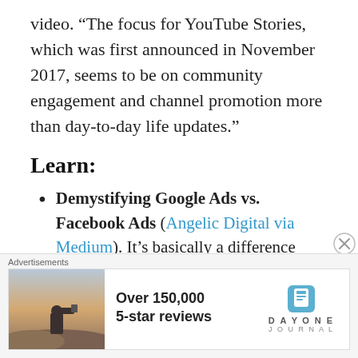video. “The focus for YouTube Stories, which was first announced in November 2017, seems to be on community engagement and channel promotion more than day-to-day life updates.”
Learn:
Demystifying Google Ads vs. Facebook Ads (Angelic Digital via Medium). It’s basically a difference between paid social and paid search, but this short blog post gives a nice breakdown of the key
[Figure (other): Advertisement banner: Over 150,000 5-star reviews. Day One Journal app ad with person photographing scenery.]